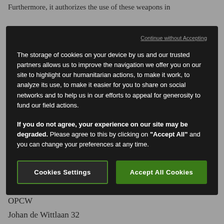Furthermore, it authorizes the use of these weapons in
Continue without Accepting
The storage of cookies on your device by us and our trusted partners allows us to improve the navigation we offer you on our site to highlight our humanitarian actions, to make it work, to analyze its use, to make it easier for you to share on social networks and to help us in our efforts to appeal for generosity to fund our field actions.
If you do not agree, your experience on our site may be degraded. Please agree to this by clicking on "Accept All" and you can change your preferences at any time.
Cookies Settings
Accept All Cookies
the destruction operations of existing stockpiles.
OPCW
Johan de Wittlaan 32